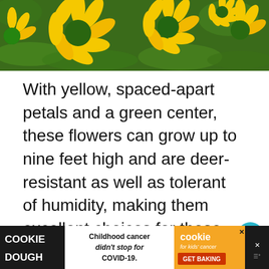[Figure (photo): Close-up photo of yellow flowers with spaced-apart petals and green centers, with green foliage in the background.]
With yellow, spaced-apart petals and a green center, these flowers can grow up to nine feet high and are deer-resistant as well as tolerant of humidity, making them excellent choices for those who live in zones 3-9.
[Figure (screenshot): Advertisement bar at bottom: Cookie Dough brand ad with text 'Childhood cancer didn't stop for COVID-19.' and Cookies for Kids' Cancer 'GET BAKING' button.]